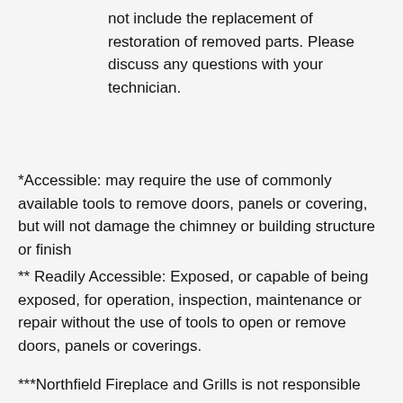not include the replacement of restoration of removed parts. Please discuss any questions with your technician.
*Accessible: may require the use of commonly available tools to remove doors, panels or covering, but will not damage the chimney or building structure or finish
** Readily Accessible: Exposed, or capable of being exposed, for operation, inspection, maintenance or repair without the use of tools to open or remove doors, panels or coverings.
***Northfield Fireplace and Grills is not responsible